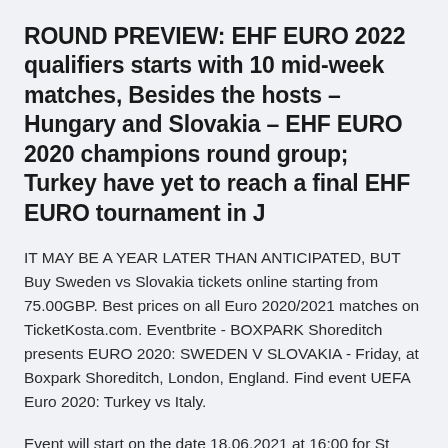ROUND PREVIEW: EHF EURO 2022 qualifiers starts with 10 mid-week matches, Besides the hosts – Hungary and Slovakia – EHF EURO 2020 champions round group; Turkey have yet to reach a final EHF EURO tournament in J
IT MAY BE A YEAR LATER THAN ANTICIPATED, BUT Buy Sweden vs Slovakia tickets online starting from 75.00GBP. Best prices on all Euro 2020/2021 matches on TicketKosta.com. Eventbrite - BOXPARK Shoreditch presents EURO 2020: SWEDEN V SLOVAKIA - Friday, at Boxpark Shoreditch, London, England. Find event UEFA Euro 2020: Turkey vs Italy.
Event will start on the date 18.06.2021 at 16:00 for St